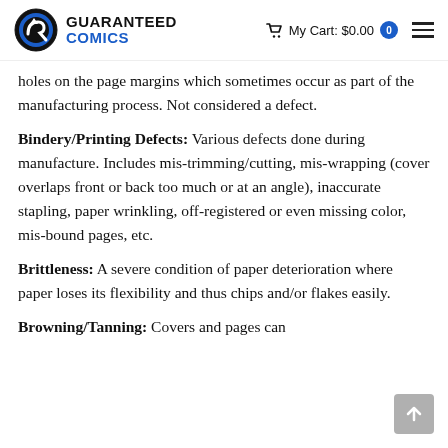GUARANTEED COMICS | My Cart: $0.00 | 0
holes on the page margins which sometimes occur as part of the manufacturing process. Not considered a defect.
Bindery/Printing Defects: Various defects done during manufacture. Includes mis-trimming/cutting, mis-wrapping (cover overlaps front or back too much or at an angle), inaccurate stapling, paper wrinkling, off-registered or even missing color, mis-bound pages, etc.
Brittleness: A severe condition of paper deterioration where paper loses its flexibility and thus chips and/or flakes easily.
Browning/Tanning: Covers and pages can